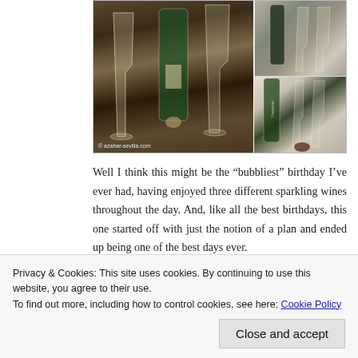[Figure (photo): Photo collage of champagne/sparkling wine glasses and bottles. Left/main image shows champagne glasses and a bottle on a dark table with copyright watermark '© azahar-sevilla.com'. Top right shows glasses and a dark bottle in a restaurant setting. Bottom right shows a wine bottle, glasses, and a chocolate on a tablecloth.]
Well I think this might be the “bubbliest” birthday I’ve ever had, having enjoyed three different sparkling wines throughout the day. And, like all the best birthdays, this one started off with just the notion of a plan and ended up being one of the best days ever.
Privacy & Cookies: This site uses cookies. By continuing to use this website, you agree to their use.
To find out more, including how to control cookies, see here: Cookie Policy
Close and accept